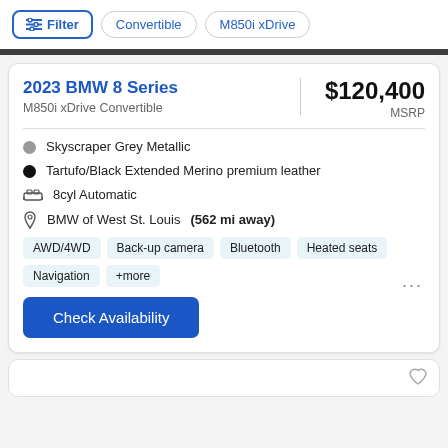Filter | Convertible | M850i xDrive
2023 BMW 8 Series
M850i xDrive Convertible
$120,400 MSRP
Skyscraper Grey Metallic
Tartufo/Black Extended Merino premium leather
8cyl Automatic
BMW of West St. Louis (562 mi away)
AWD/4WD  Back-up camera  Bluetooth  Heated seats  Navigation  +more
Check Availability